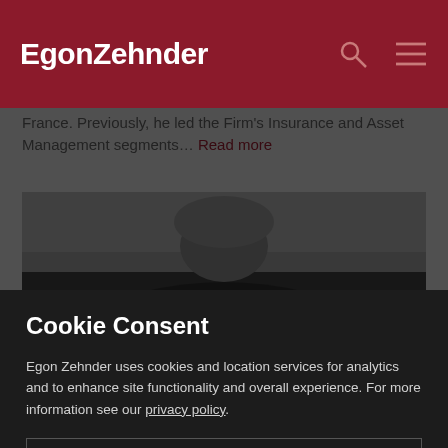EgonZehnder
France. Previously, he led the Firm's Insurance and Asset Management segments… Read more
[Figure (photo): Partially visible profile photo of a person with grey/white hair, wearing dark clothing, against a grey background]
Cookie Consent
Egon Zehnder uses cookies and location services for analytics and to enhance site functionality and overall experience. For more information see our privacy policy.
Allow all
Show details